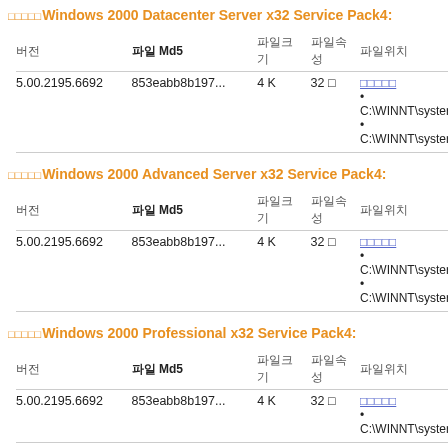□□□□□Windows 2000 Datacenter Server x32 Service Pack4:
| 버전 | 파일 Md5 | 파일크기 | 파일속성 | 파일위치 |
| --- | --- | --- | --- | --- |
| 5.00.2195.6692 | 853eabb8b197... | 4 K | 32 □ | □□□□□
• C:\WINNT\syster
• C:\WINNT\syster |
□□□□□Windows 2000 Advanced Server x32 Service Pack4:
| 버전 | 파일 Md5 | 파일크기 | 파일속성 | 파일위치 |
| --- | --- | --- | --- | --- |
| 5.00.2195.6692 | 853eabb8b197... | 4 K | 32 □ | □□□□□
• C:\WINNT\syster
• C:\WINNT\syster |
□□□□□Windows 2000 Professional x32 Service Pack4:
| 버전 | 파일 Md5 | 파일크기 | 파일속성 | 파일위치 |
| --- | --- | --- | --- | --- |
| 5.00.2195.6692 | 853eabb8b197... | 4 K | 32 □ | □□□□□
• C:\WINNT\syster |